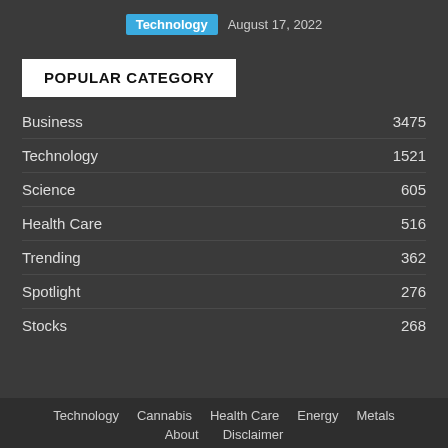Technology  August 17, 2022
POPULAR CATEGORY
Business  3475
Technology  1521
Science  605
Health Care  516
Trending  362
Spotlight  276
Stocks  268
Technology  Cannabis  Health Care  Energy  Metals  About  Disclaimer